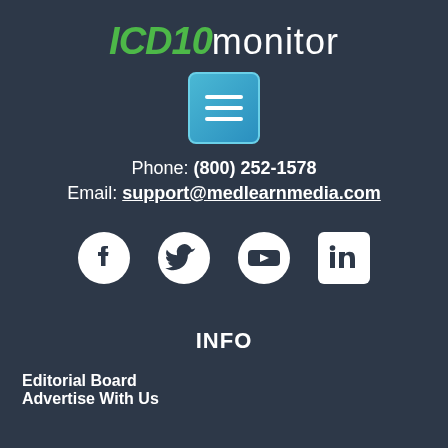[Figure (logo): ICD10 monitor logo with green italic ICD10 text and white monitor text]
[Figure (other): Blue menu/hamburger button icon with three white horizontal lines]
Phone: (800) 252-1578
Email: support@medlearnmedia.com
[Figure (other): Social media icons: Facebook, Twitter, YouTube, LinkedIn]
INFO
Editorial Board
Advertise With Us